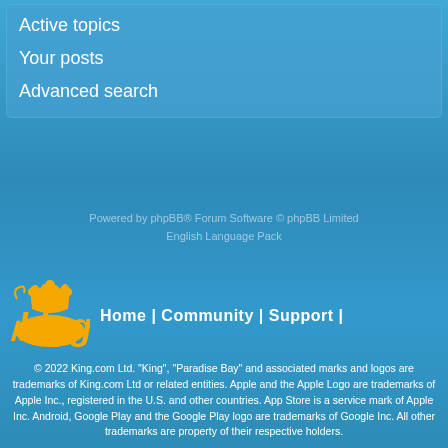Active topics
Your posts
Advanced search
Powered by phpBB® Forum Software © phpBB Limited
English Language Pack
[Figure (logo): King logo - yellow cartoon crown/king text logo]
Home | Community | Support |
© 2022 King.com Ltd. "King", "Paradise Bay" and associated marks and logos are trademarks of King.com Ltd or related entities. Apple and the Apple Logo are trademarks of Apple Inc., registered in the U.S. and other countries. App Store is a service mark of Apple Inc. Android, Google Play and the Google Play logo are trademarks of Google Inc. All other trademarks are property of their respective holders.